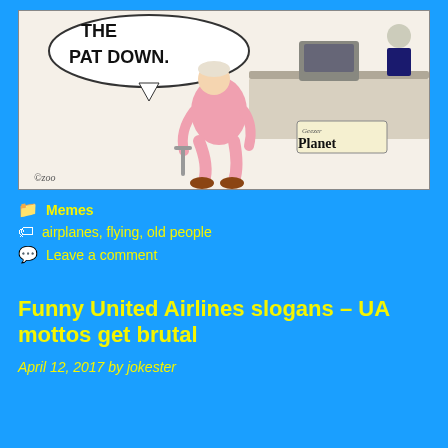[Figure (illustration): A comic strip showing an elderly person in a pink outfit bent over at what appears to be an airport security checkpoint. A speech bubble reads 'THE PAT DOWN.' with a 'Geezer Planet' logo visible in the bottom right corner. Signed 'Ozoo' in the bottom left.]
Memes
airplanes, flying, old people
Leave a comment
Funny United Airlines slogans – UA mottos get brutal
April 12, 2017 by jokester